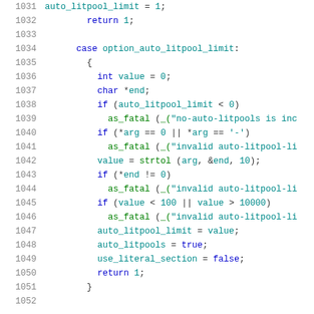[Figure (screenshot): Source code listing in C showing lines 1031-1052, handling case option_auto_litpool_limit with variable declarations, conditional checks, and assignments. Dark theme syntax highlighting with blue keywords, teal identifiers/numbers, and green function calls/strings.]